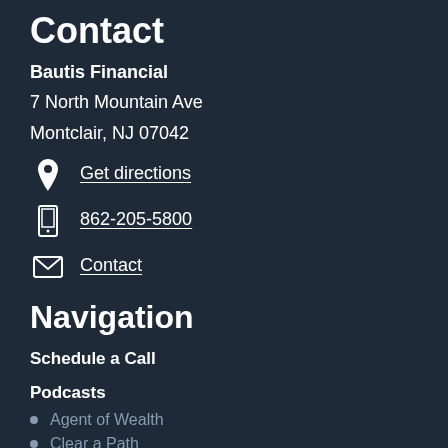Contact
Bautis Financial
7 North Mountain Ave
Montclair, NJ 07042
Get directions
862-205-5800
Contact
Navigation
Schedule a Call
Podcasts
Agent of Wealth
Clear a Path